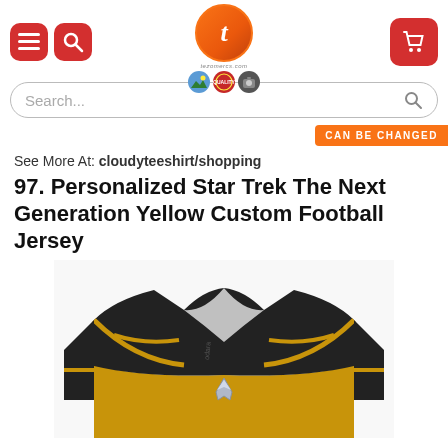[Figure (screenshot): E-commerce website header with red hamburger menu button, red search button, orange circular logo with letter t in center, three small badge icons, and red shopping cart button]
[Figure (other): Search bar with placeholder text Search... and magnifying glass icon]
[Figure (other): Orange banner strip with text CAN BE CHANGED]
See More At: cloudyteeshirt/shopping
97. Personalized Star Trek The Next Generation Yellow Custom Football Jersey
[Figure (photo): Star Trek The Next Generation style football jersey in black and gold/yellow colors with V-neck design and Star Trek insignia badge, shown from the front upper torso area]